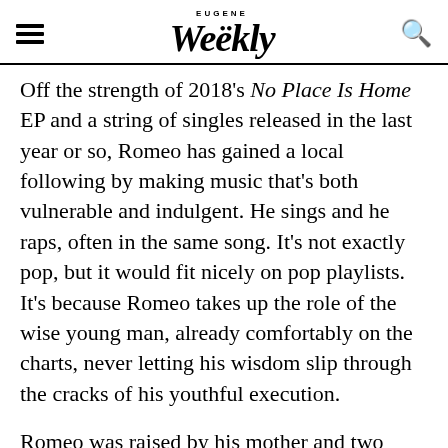EUGENE Weekly
Off the strength of 2018's No Place Is Home EP and a string of singles released in the last year or so, Romeo has gained a local following by making music that's both vulnerable and indulgent. He sings and he raps, often in the same song. It's not exactly pop, but it would fit nicely on pop playlists. It's because Romeo takes up the role of the wise young man, already comfortably on the charts, never letting his wisdom slip through the cracks of his youthful execution.
Romeo was raised by his mother and two older sisters. He says his unique perspective as an